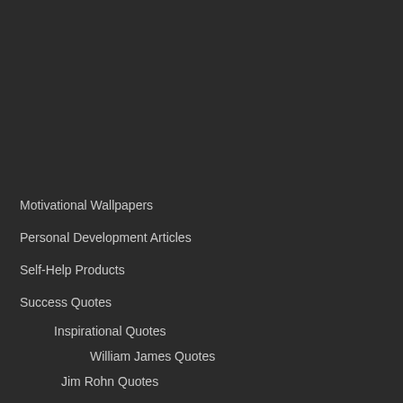Motivational Wallpapers
Personal Development Articles
Self-Help Products
Success Quotes
Inspirational Quotes
William James Quotes
Jim Rohn Quotes